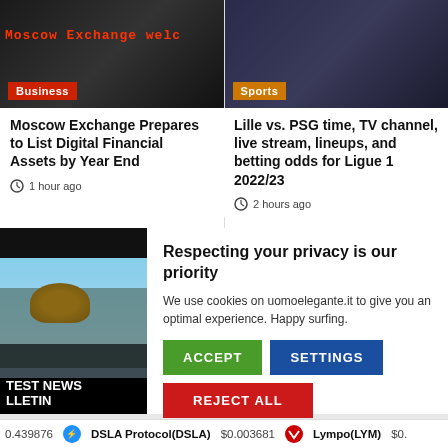[Figure (photo): Moscow Exchange electronic display board showing scrolling text in red LEDs with Business category badge]
[Figure (photo): Sports photo showing soccer player with PSG jersey and Sports category badge]
Moscow Exchange Prepares to List Digital Financial Assets by Year End
1 hour ago
Lille vs. PSG time, TV channel, live stream, lineups, and betting odds for Ligue 1 2022/23
2 hours ago
[Figure (photo): News bulletin thumbnail showing fence and vegetation with dark overlay text EST NEWS LLETIN]
Respecting your privacy is our priority
We use cookies on uomoelegante.it to give you an optimal experience. Happy surfing.
ACCEPT
SETTINGS
REJECT ALL
0.439876   DSLA Protocol(DSLA) $0.003681   Lympo(LYM) $0.